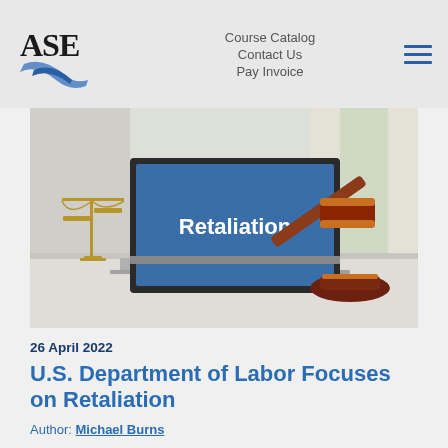Course Catalog  Contact Us  Pay Invoice
[Figure (photo): Laptop screen displaying the word 'Retaliation' on a blue background, with a gold scale of justice on the left and a wooden gavel on the right, on a white desk surface.]
26 April 2022
U.S. Department of Labor Focuses on Retaliation
Author: Michael Burns